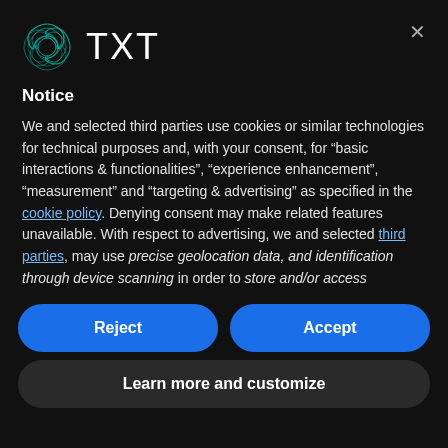[Figure (logo): TXT brand logo: teal/green swirling star-like abstract shape on the left, followed by the text 'TXT' in large white letters]
Notice
We and selected third parties use cookies or similar technologies for technical purposes and, with your consent, for “basic interactions & functionalities”, “experience enhancement”, “measurement” and “targeting & advertising” as specified in the cookie policy. Denying consent may make related features unavailable. With respect to advertising, we and selected third parties, may use precise geolocation data, and identification through device scanning in order to store and/or access
Reject
Accept
Learn more and customize